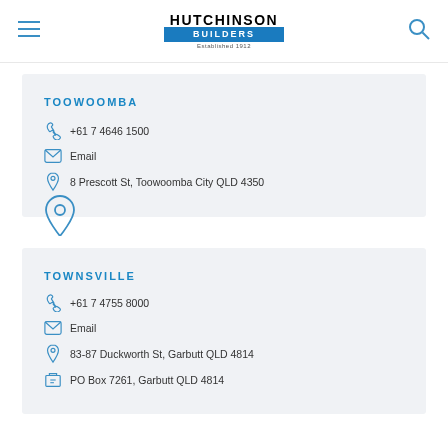HUTCHINSON BUILDERS — Established 1912
TOOWOOMBA
+61 7 4646 1500
Email
8 Prescott St, Toowoomba City QLD 4350
[Figure (other): Map pin / location icon for Townsville section]
TOWNSVILLE
+61 7 4755 8000
Email
83-87 Duckworth St, Garbutt QLD 4814
PO Box 7261, Garbutt QLD 4814